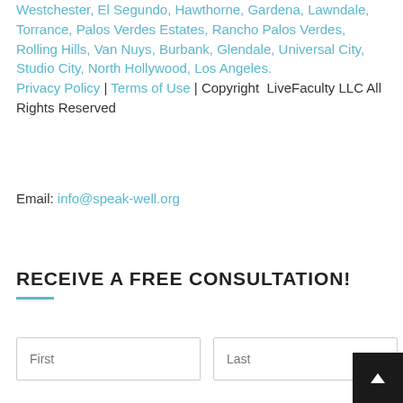Westchester, El Segundo, Hawthorne, Gardena, Lawndale, Torrance, Palos Verdes Estates, Rancho Palos Verdes, Rolling Hills, Van Nuys, Burbank, Glendale, Universal City, Studio City, North Hollywood, Los Angeles. Privacy Policy | Terms of Use | Copyright  LiveFaculty LLC All Rights Reserved
Email: info@speak-well.org
RECEIVE A FREE CONSULTATION!
First | Last (form inputs)